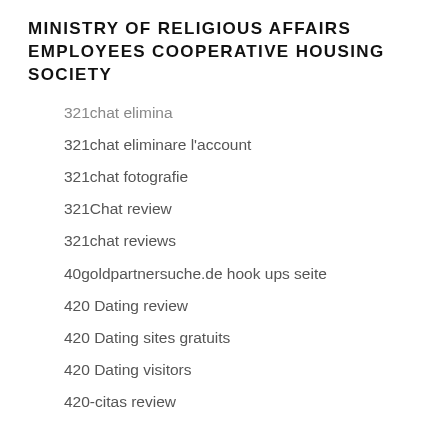MINISTRY OF RELIGIOUS AFFAIRS EMPLOYEES COOPERATIVE HOUSING SOCIETY
321chat elimina
321chat eliminare l'account
321chat fotografie
321Chat review
321chat reviews
40goldpartnersuche.de hook ups seite
420 Dating review
420 Dating sites gratuits
420 Dating visitors
420-citas review